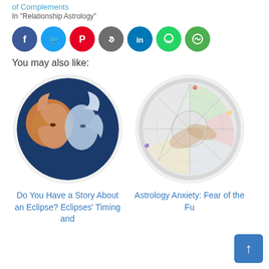of Complements
In "Relationship Astrology"
[Figure (other): Row of social share icon buttons: Facebook (blue), Twitter (light blue), Pinterest (red), Copy Link (dark gray), LinkedIn (blue), WhatsApp (green), More (green)]
You may also like:
[Figure (illustration): Circular illustration of two faces with flowing hair, one orange/gold and one blue/silver, facing each other]
[Figure (photo): Circular photo of an astrology natal chart with geometric lines, partially overlaid by hands]
Do You Have a Story About an Eclipse? Eclipses' Timing and
Astrology Anxiety: Fear of the Fu